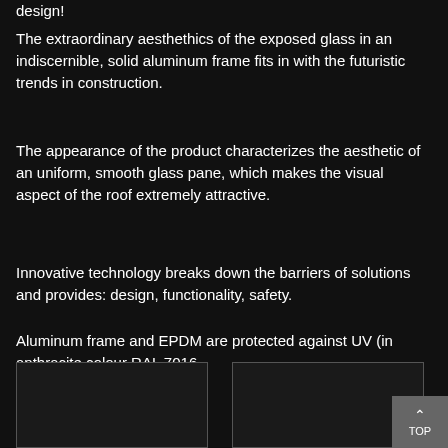design!
The extraordinary aesthethics of the exposed glass in an indiscernible, solid aluminum frame fits in with the futuristic trends in construction.
The appearance of the product characterizes the aesthetic of an uniform, smooth glass pane, which makes the visual aspect of the roof extremely attractive.
Innovative technology breaks down the barriers of solutions and provides: design, functionality, safety.
Aluminum frame and EPDM are protected against UV (in anthracite colour RAL 7016.
[Figure (photo): Left photo panel - dark/black image]
[Figure (photo): Right photo panel - dark/black image]